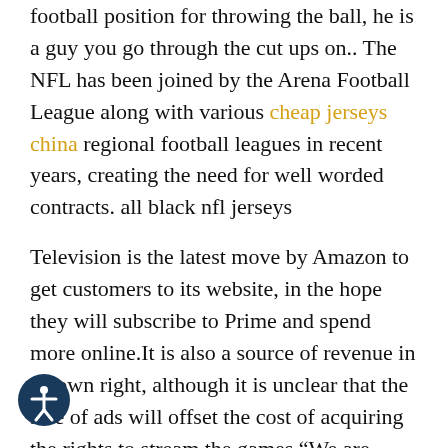football position for throwing the ball, he is a guy you go through the cut ups on.. The NFL has been joined by the Arena Football League along with various cheap jerseys china regional football leagues in recent years, creating the need for well worded contracts. all black nfl jerseys
Television is the latest move by Amazon to get customers to its website, in the hope they will subscribe to Prime and spend more online.It is also a source of revenue in its own right, although it is unclear that the sale of ads will offset the cost of acquiring the rights to stream the games."We are offering a range of options at various price points, depending on advertiser